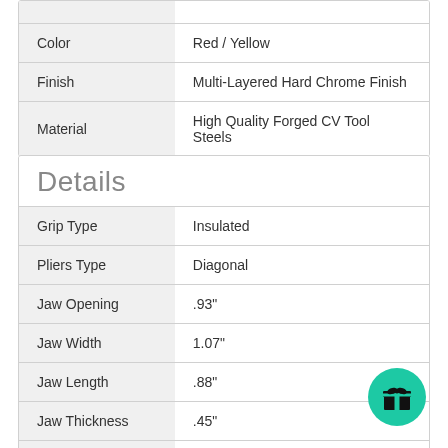| Attribute | Value |
| --- | --- |
| Color | Red / Yellow |
| Finish | Multi-Layered Hard Chrome Finish |
| Material | High Quality Forged CV Tool Steels |
Details
| Attribute | Value |
| --- | --- |
| Grip Type | Insulated |
| Pliers Type | Diagonal |
| Jaw Opening | .93" |
| Jaw Width | 1.07" |
| Jaw Length | .88" |
| Jaw Thickness | .45" |
[Figure (illustration): Green circular gift badge icon in bottom-right corner]